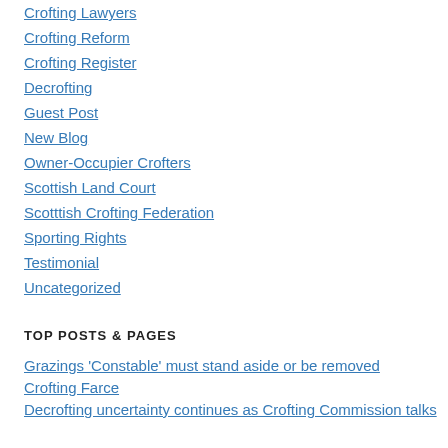Crofting Lawyers
Crofting Reform
Crofting Register
Decrofting
Guest Post
New Blog
Owner-Occupier Crofters
Scottish Land Court
Scotttish Crofting Federation
Sporting Rights
Testimonial
Uncategorized
TOP POSTS & PAGES
Grazings 'Constable' must stand aside or be removed
Crofting Farce
Decrofting uncertainty continues as Crofting Commission talks